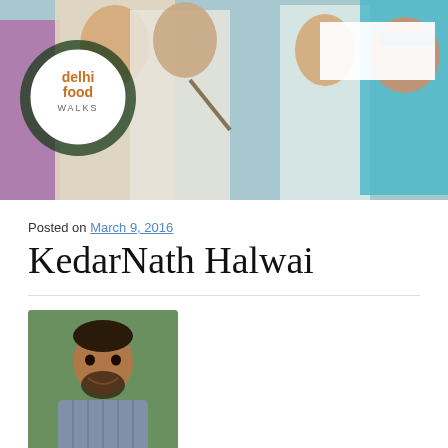[Figure (photo): Hero banner photo showing a crowd of people walking, with the Delhi Food Walks circular logo in the top-left corner and a white redaction box in the top-right corner.]
Posted on March 9, 2016
KedarNath Halwai
[Figure (photo): Author profile photo showing a man with a beard, smiling, wearing a plaid shirt, outdoors with green background.]
Written by